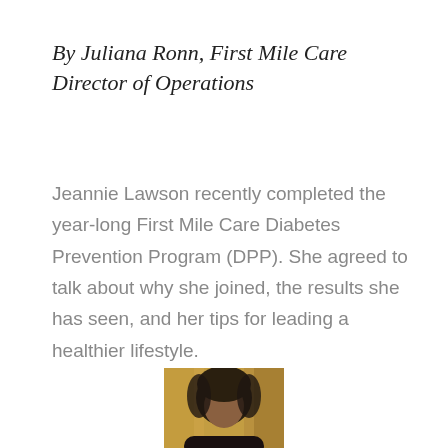By Juliana Ronn, First Mile Care Director of Operations
Jeannie Lawson recently completed the year-long First Mile Care Diabetes Prevention Program (DPP). She agreed to talk about why she joined, the results she has seen, and her tips for leading a healthier lifestyle.
[Figure (photo): Portrait photo of a person with dark hair, partially visible at bottom of page]